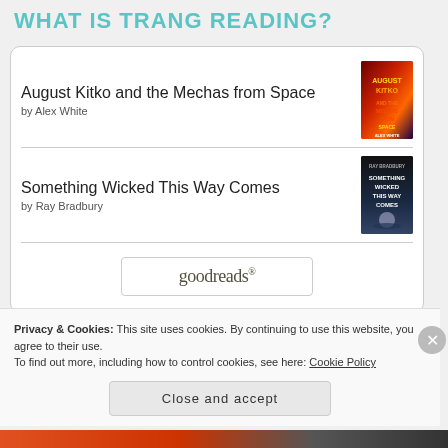WHAT IS TRANG READING?
August Kitko and the Mechas from Space
by Alex White
[Figure (illustration): Book cover for August Kitko and the Mechas from Space — dark red and orange/purple gradient with stylized text]
Something Wicked This Way Comes
by Ray Bradbury
[Figure (illustration): Book cover for Something Wicked This Way Comes — dark blue/black with planetary imagery]
[Figure (logo): goodreads button/logo]
Privacy & Cookies: This site uses cookies. By continuing to use this website, you agree to their use.
To find out more, including how to control cookies, see here: Cookie Policy
Close and accept